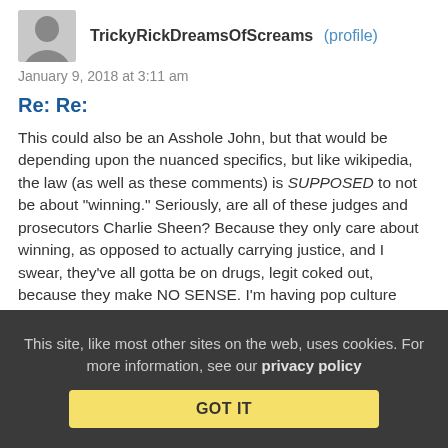TrickyRickDreamsOfScreams (profile)
January 9, 2018 at 3:11 am
Re: Re:
This could also be an Asshole John, but that would be depending upon the nuanced specifics, but like wikipedia, the law (as well as these comments) is SUPPOSED to not be about "winning." Seriously, are all of these judges and prosecutors Charlie Sheen? Because they only care about winning, as opposed to actually carrying justice, and I swear, they've all gotta be on drugs, legit coked out, because they make NO SENSE. I'm having pop culture flashbacks to 2010, here. What's next, screaming about having tiger blood?
This site, like most other sites on the web, uses cookies. For more information, see our privacy policy  GOT IT